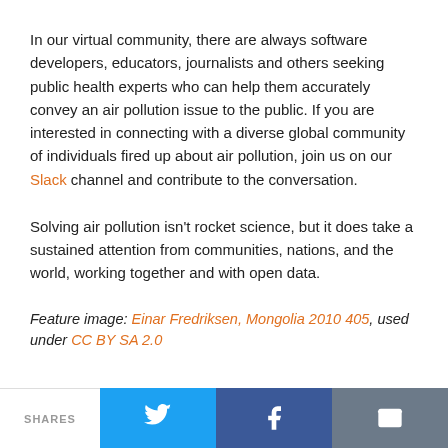In our virtual community, there are always software developers, educators, journalists and others seeking public health experts who can help them accurately convey an air pollution issue to the public. If you are interested in connecting with a diverse global community of individuals fired up about air pollution, join us on our Slack channel and contribute to the conversation.
Solving air pollution isn't rocket science, but it does take a sustained attention from communities, nations, and the world, working together and with open data.
Feature image: Einar Fredriksen, Mongolia 2010 405, used under CC BY SA 2.0
SHARES | Twitter | Facebook | Email